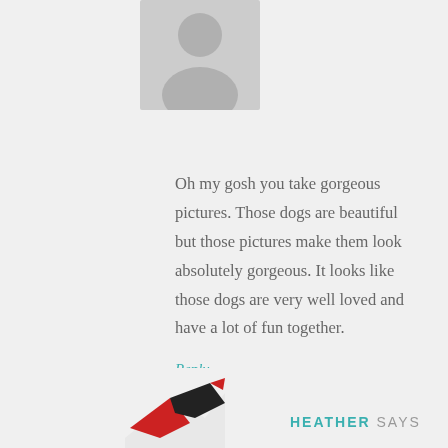[Figure (illustration): Generic grey user avatar placeholder icon — silhouette of a person on grey background]
Oh my gosh you take gorgeous pictures. Those dogs are beautiful but those pictures make them look absolutely gorgeous. It looks like those dogs are very well loved and have a lot of fun together.
Reply
[Figure (illustration): Partial view of Heather's avatar/logo — appears to be a bird or decorative icon in red and black]
HEATHER SAYS